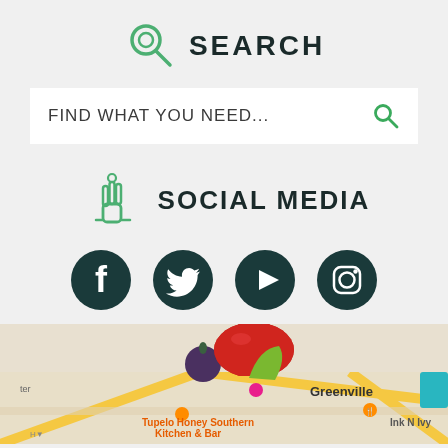[Figure (infographic): Search section with green magnifying glass icon and the word SEARCH in bold capital letters]
FIND WHAT YOU NEED...
[Figure (infographic): Social Media section with green touch/finger pointer icon and the words SOCIAL MEDIA, followed by four dark teal circular social media icons: Facebook, Twitter, YouTube, Instagram]
[Figure (screenshot): Bottom section showing fruit images (blueberry, red apple, lime) above a Google Maps style map snippet showing Greenville with markers for Tupelo Honey Southern Kitchen & Bar and Ink N Ivy]